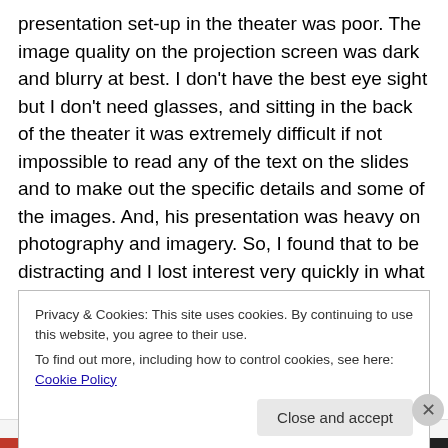presentation set-up in the theater was poor. The image quality on the projection screen was dark and blurry at best. I don't have the best eye sight but I don't need glasses, and sitting in the back of the theater it was extremely difficult if not impossible to read any of the text on the slides and to make out the specific details and some of the images. And, his presentation was heavy on photography and imagery. So, I found that to be distracting and I lost interest very quickly in what he was saying because, I struggled to see what he was referring to on the presentation slides.
Privacy & Cookies: This site uses cookies. By continuing to use this website, you agree to their use.
To find out more, including how to control cookies, see here: Cookie Policy
Close and accept
Advertisements